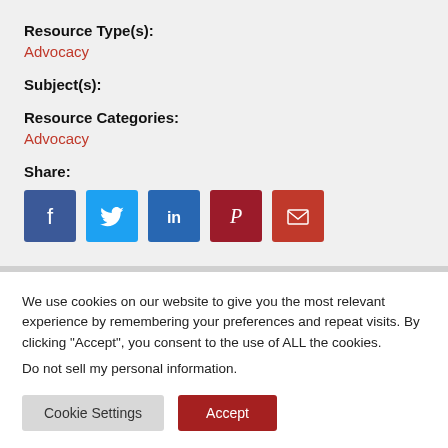Resource Type(s):
Advocacy
Subject(s):
Resource Categories:
Advocacy
Share:
[Figure (infographic): Social share icons: Facebook (dark blue), Twitter (light blue), LinkedIn (blue), Pinterest (dark red), Email (red)]
We use cookies on our website to give you the most relevant experience by remembering your preferences and repeat visits. By clicking “Accept”, you consent to the use of ALL the cookies.
Do not sell my personal information.
Cookie Settings
Accept